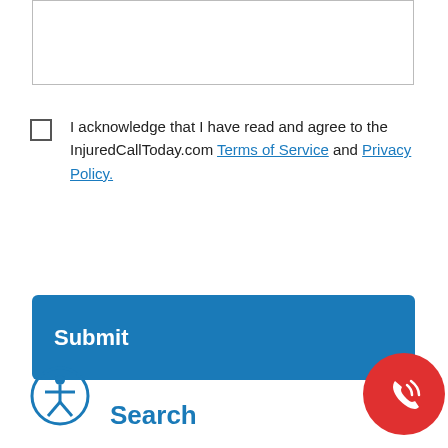[Figure (other): Text input area / textarea field at top of page]
I acknowledge that I have read and agree to the InjuredCallToday.com Terms of Service and Privacy Policy.
[Figure (other): Submit button - blue rectangle with white bold text 'Submit']
[Figure (other): Accessibility icon - circular icon with person figure in blue circle outline]
Search
[Figure (other): Phone call button - red circle with white phone/signal icon]